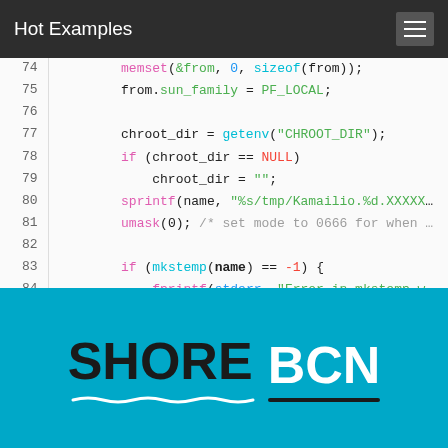Hot Examples
[Figure (screenshot): Code snippet showing C source lines 74-88 with syntax highlighting. Line 74: memset(&from, 0, sizeof(from)); Line 75: from.sun_family = PF_LOCAL; Line 76: (blank) Line 77: chroot_dir = getenv("CHROOT_DIR"); Line 78: if (chroot_dir == NULL) Line 79: chroot_dir = ""; Line 80: sprintf(name, "%s/tmp/Kamailio.%d.XXXXX... Line 81: umask(0); /* set mode to 0666 for when ... Line 82: (blank) Line 83: if (mkstemp(name) == -1) { Line 84: fprintf(stderr, "Error in mkstemp w... Line 85: return -2; Line 86: } Line 87: if (unlink(name) == -1) { Line 88: fprintf(stderr, "Error in unlink of...]
[Figure (logo): SHORE BCN logo on cyan/blue background with wave decoration]